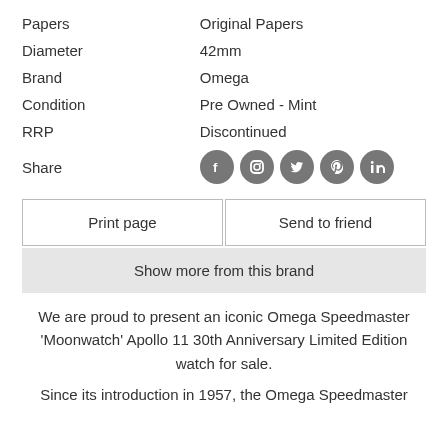| Papers | Original Papers |
| Diameter | 42mm |
| Brand | Omega |
| Condition | Pre Owned - Mint |
| RRP | Discontinued |
| Share | [social icons] |
Print page
Send to friend
Show more from this brand
We are proud to present an iconic Omega Speedmaster 'Moonwatch' Apollo 11 30th Anniversary Limited Edition watch for sale.
Since its introduction in 1957, the Omega Speedmaster